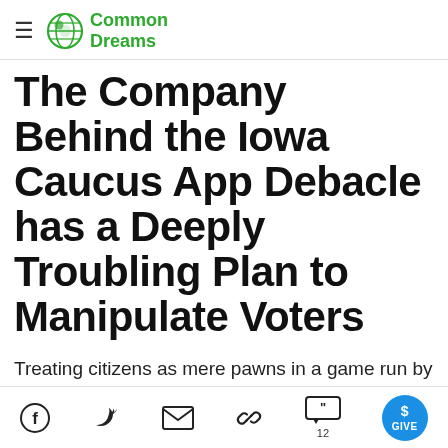Common Dreams
The Company Behind the Iowa Caucus App Debacle has a Deeply Troubling Plan to Manipulate Voters
Treating citizens as mere pawns in a game run by propaganda shops